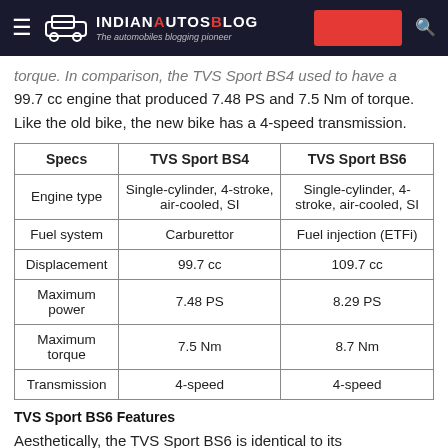IndianAutosBlog – The automobiles blogging pioneer
torque. In comparison, the TVS Sport BS4 used to have a 99.7 cc engine that produced 7.48 PS and 7.5 Nm of torque. Like the old bike, the new bike has a 4-speed transmission.
| Specs | TVS Sport BS4 | TVS Sport BS6 |
| --- | --- | --- |
| Engine type | Single-cylinder, 4-stroke, air-cooled, SI | Single-cylinder, 4-stroke, air-cooled, SI |
| Fuel system | Carburettor | Fuel injection (ETFi) |
| Displacement | 99.7 cc | 109.7 cc |
| Maximum power | 7.48 PS | 8.29 PS |
| Maximum torque | 7.5 Nm | 8.7 Nm |
| Transmission | 4-speed | 4-speed |
TVS Sport BS6 Features
Aesthetically, the TVS Sport BS6 is identical to its predecessor. It has a simple design with some attractive